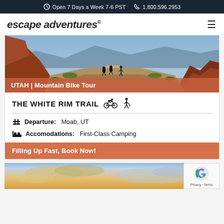Open 7 Days a Week 7-6 PST   1.800.596.2953
escape adventures®
[Figure (photo): cyclists riding on a dusty dirt road through Utah canyon landscape with red rock formations and blue mountains in the background]
UTAH | Mountain Bike Tour
THE WHITE RIM TRAIL
Departure: Moab, UT
Accomodations: First-Class Camping
Filling Up Fast, Book Now!
[Figure (photo): Sunset sky with dramatic clouds, partial view at bottom of page]